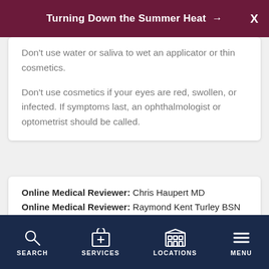Turning Down the Summer Heat →
Don't use water or saliva to wet an applicator or thin cosmetics.
Don't use cosmetics if your eyes are red, swollen, or infected. If symptoms last, an ophthalmologist or optometrist should be called.
Online Medical Reviewer: Chris Haupert MD
Online Medical Reviewer: Raymond Kent Turley BSN MSN RN
Online Medical Reviewer: Rita Sather RN
Date Last Reviewed: 10/1/2023
SEARCH   SERVICES   LOCATIONS   MENU